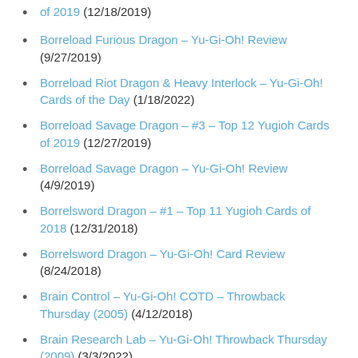of 2019 (12/18/2019)
Borreload Furious Dragon – Yu-Gi-Oh! Review (9/27/2019)
Borreload Riot Dragon & Heavy Interlock – Yu-Gi-Oh! Cards of the Day (1/18/2022)
Borreload Savage Dragon – #3 – Top 12 Yugioh Cards of 2019 (12/27/2019)
Borreload Savage Dragon – Yu-Gi-Oh! Review (4/9/2019)
Borrelsword Dragon – #1 – Top 11 Yugioh Cards of 2018 (12/31/2018)
Borrelsword Dragon – Yu-Gi-Oh! Card Review (8/24/2018)
Brain Control – Yu-Gi-Oh! COTD – Throwback Thursday (2005) (4/12/2018)
Brain Research Lab – Yu-Gi-Oh! Throwback Thursday (2009) (3/3/2022)